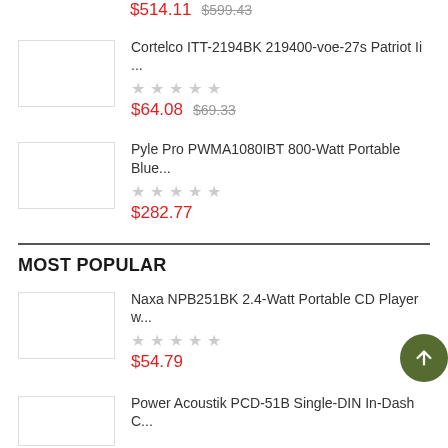$514.11  $599.43
[Figure (photo): Product thumbnail placeholder for Cortelco ITT-2194BK]
Cortelco ITT-2194BK 219400-voe-27s Patriot Ii ...
★★★★★ (empty stars)
$64.08  $69.33
[Figure (photo): Product thumbnail placeholder for Pyle Pro PWMA1080IBT]
Pyle Pro PWMA1080IBT 800-Watt Portable Blue...
★★★★★ (empty stars)
$282.77
MOST POPULAR
[Figure (photo): Product thumbnail placeholder for Naxa NPB251BK]
Naxa NPB251BK 2.4-Watt Portable CD Player w...
★★★★★ (empty stars)
$54.79
[Figure (photo): Product thumbnail placeholder for Power Acoustik PCD-51B]
Power Acoustik PCD-51B Single-DIN In-Dash C...